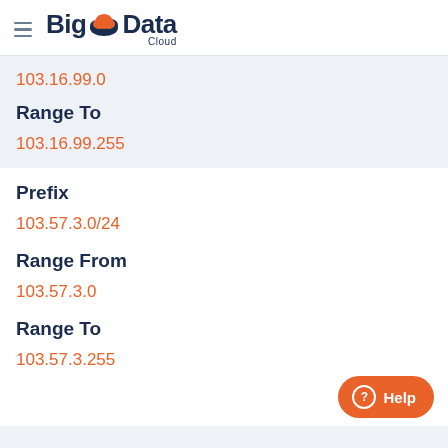BigData Cloud
103.16.99.0
Range To
103.16.99.255
Prefix
103.57.3.0/24
Range From
103.57.3.0
Range To
103.57.3.255